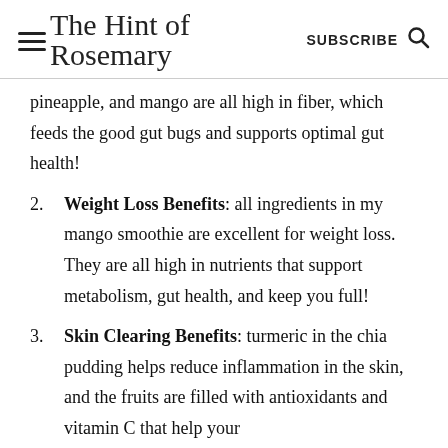The Hint of Rosemary — SUBSCRIBE
pineapple, and mango are all high in fiber, which feeds the good gut bugs and supports optimal gut health!
Weight Loss Benefits: all ingredients in my mango smoothie are excellent for weight loss. They are all high in nutrients that support metabolism, gut health, and keep you full!
Skin Clearing Benefits: turmeric in the chia pudding helps reduce inflammation in the skin, and the fruits are filled with antioxidants and vitamin C that help your